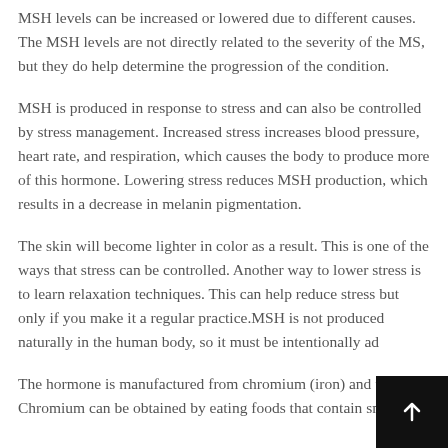MSH levels can be increased or lowered due to different causes. The MSH levels are not directly related to the severity of the MS, but they do help determine the progression of the condition.
MSH is produced in response to stress and can also be controlled by stress management. Increased stress increases blood pressure, heart rate, and respiration, which causes the body to produce more of this hormone. Lowering stress reduces MSH production, which results in a decrease in melanin pigmentation.
The skin will become lighter in color as a result. This is one of the ways that stress can be controlled. Another way to lower stress is to learn relaxation techniques. This can help reduce stress but only if you make it a regular practice.MSH is not produced naturally in the human body, so it must be intentionally ad
The hormone is manufactured from chromium (iron) and tyrosine. Chromium can be obtained by eating foods that contain small...